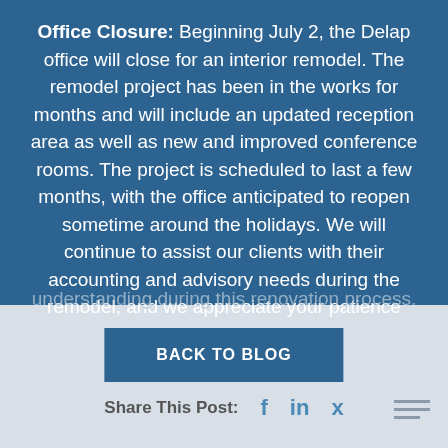Office Closure: Beginning July 2, the Delap office will close for an interior remodel. The remodel project has been in the works for months and will include an updated reception area as well as new and improved conference rooms. The project is scheduled to last a few months, with the office anticipated to reopen sometime around the holidays. We will continue to assist our clients with their accounting and advisory needs during the remodel, and we appreciate your patience and understanding during this renovation process.
BACK TO BLOG
Share This Post: